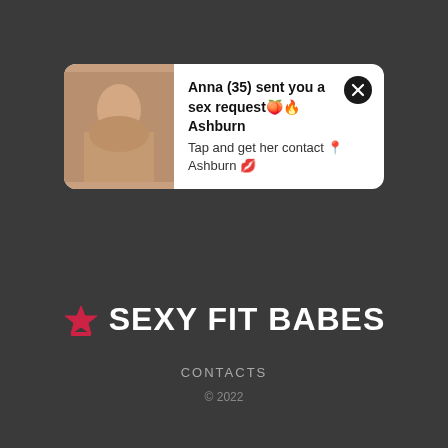[Figure (screenshot): Notification card with image thumbnail on left and text: 'Anna (35) sent you a sex request Ashburn / Tap and get her contact Ashburn' with close button]
👑 SEXY FIT BABES
CONTACTS
© 2022